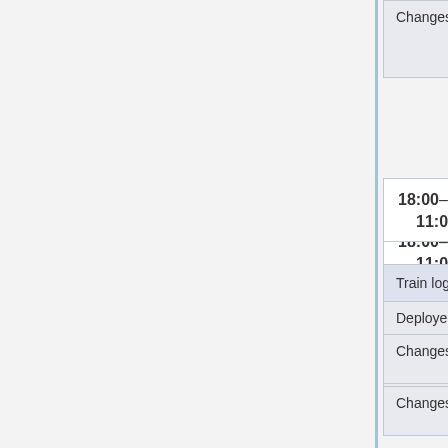| Changes | Requesting Developer (irc-nickname)
• Gerrit link to backport or config change |
18:00–19:00 UTC #
11:00–12:00 PDT
| Train log triage with CPT |
| --- |
| Deployer | Antoine (hashar), Brennen (br... |
| Changes | See Heterogeneous_deployment/Tra... |
18:00–20:00 UTC #
11:00–13:00 PDT
| MediaWiki train - Utc-0+Utc-7 Version (secondary timeslot) |
| --- |
| Deployer | Antoine (hashar), Brennen |